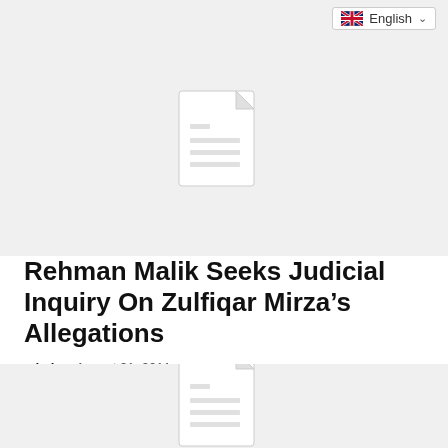English
[Figure (illustration): Placeholder document icon on grey background representing an article thumbnail]
Rehman Malik Seeks Judicial Inquiry On Zulfiqar Mirza’s Allegations
admin – August 31, 2011
[Figure (illustration): Placeholder document icon on grey background representing a second article thumbnail]